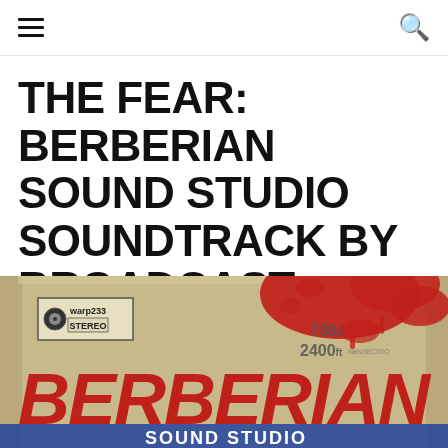menu / search
THE FEAR: BERBERIAN SOUND STUDIO SOUNDTRACK BY BROADCAST
[Figure (photo): Album cover for Berberian Sound Studio by Broadcast. Vintage-style cardboard/tape reel box with red splatter graphic. Large bold red text reads BERBERIAN and SOUND STUDIO. Small label in upper left reads warp233 STEREO. Numbers 730ft and 2400ft visible on right side.]